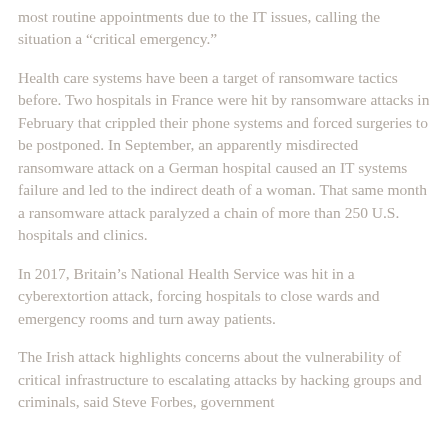most routine appointments due to the IT issues, calling the situation a “critical emergency.”
Health care systems have been a target of ransomware tactics before. Two hospitals in France were hit by ransomware attacks in February that crippled their phone systems and forced surgeries to be postponed. In September, an apparently misdirected ransomware attack on a German hospital caused an IT systems failure and led to the indirect death of a woman. That same month a ransomware attack paralyzed a chain of more than 250 U.S. hospitals and clinics.
In 2017, Britain’s National Health Service was hit in a cyberextortion attack, forcing hospitals to close wards and emergency rooms and turn away patients.
The Irish attack highlights concerns about the vulnerability of critical infrastructure to escalating attacks by hacking groups and criminals, said Steve Forbes, government